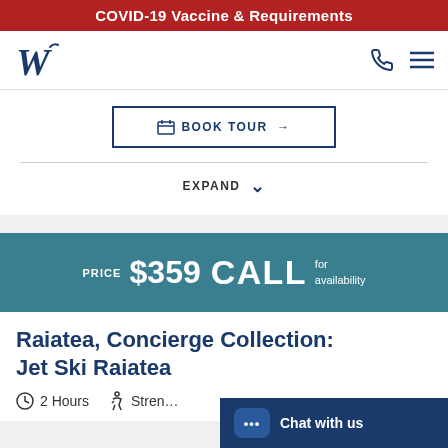COVID-19 Vaccine & Requirements
[Figure (logo): W logo for Windstar Cruises navigation bar with phone and menu icons]
BOOK TOUR →
EXPAND
PRICE $359 CALL for availability
Raiatea, Concierge Collection: Jet Ski Raiatea
2 Hours  Stren…
Chat with us